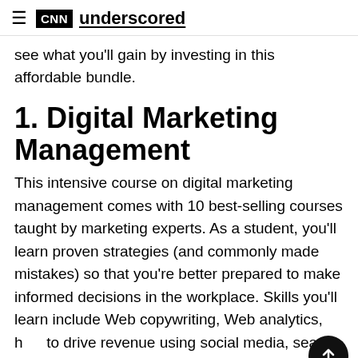CNN underscored
see what you’ll gain by investing in this affordable bundle.
1. Digital Marketing Management
This intensive course on digital marketing management comes with 10 best-selling courses taught by marketing experts. As a student, you’ll learn proven strategies (and commonly made mistakes) so that you’re better prepared to make informed decisions in the workplace. Skills you’ll learn include Web copywriting, Web analytics, how to drive revenue using social media, search engine optimization, and more.